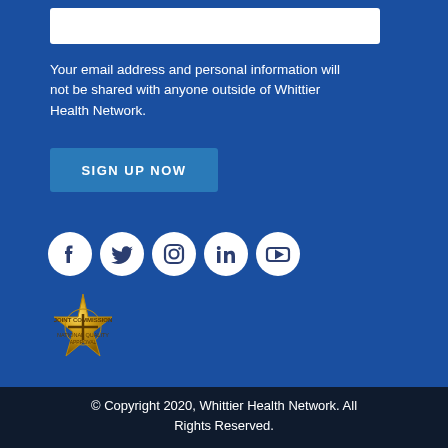[Figure (screenshot): White input field/text box on blue background]
Your email address and personal information will not be shared with anyone outside of Whittier Health Network.
[Figure (screenshot): SIGN UP NOW button in medium blue]
[Figure (infographic): Social media icons: Facebook, Twitter, Instagram, LinkedIn, YouTube — white icons on dark circles]
[Figure (logo): Gold award/accreditation badge seal]
© Copyright 2020, Whittier Health Network. All Rights Reserved.